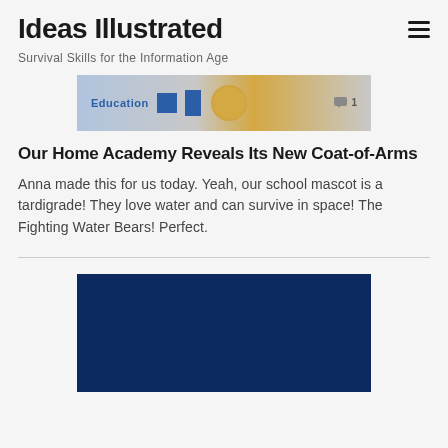Ideas Illustrated
Survival Skills for the Information Age
[Figure (photo): Banner image showing Education label with blue squares and a golden crest/medallion, with a comment count of 1]
Our Home Academy Reveals Its New Coat-of-Arms
Anna made this for us today. Yeah, our school mascot is a tardigrade! They love water and can survive in space! The Fighting Water Bears! Perfect.
[Figure (photo): Dark navy blue image, partially visible at bottom of page]